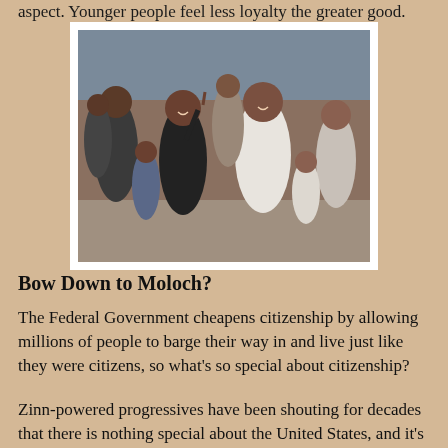aspect. Younger people feel less loyalty the greater good.
[Figure (photo): Group of people outdoors, some smiling and laughing, photographed in a crowd scene.]
Bow Down to Moloch?
The Federal Government cheapens citizenship by allowing millions of people to barge their way in and live just like they were citizens, so what's so special about citizenship?
Zinn-powered progressives have been shouting for decades that there is nothing special about the United States, and it's just an accident of birth that we were born here. President Obama told us that, sure, he thinks America is special, just